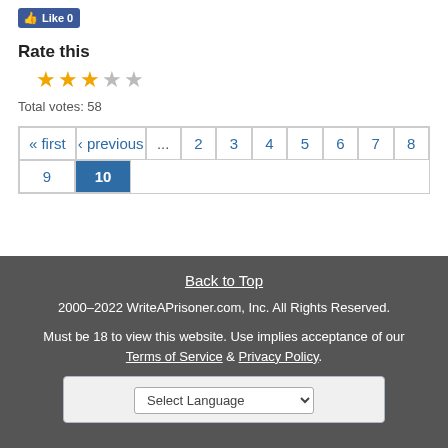[Figure (other): Facebook Like button showing 0 likes]
Rate this
[Figure (other): Star rating widget showing 3 out of 5 stars filled (gold), 2 empty (grey)]
Total votes: 58
[Figure (other): Pagination navigation with links: « first, ‹ previous, ..., 2, 3, 4, 5, 6, 7, 8, 9, 10 (current page highlighted in blue)]
Back to Top
2000–2022 WriteAPrisoner.com, Inc. All Rights Reserved.
Must be 18 to view this website. Use implies acceptance of our Terms of Service & Privacy Policy.
Select Language (dropdown)